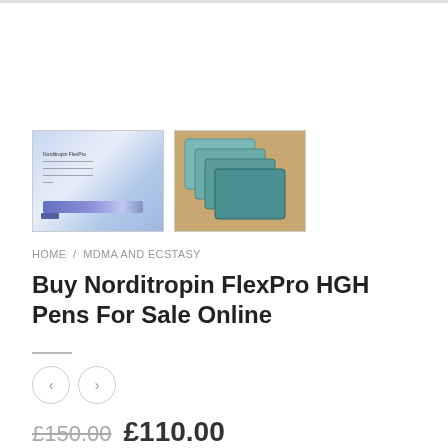[Figure (photo): Two product thumbnail images: first shows a Norditropin FlexPro HGH pen box with blue pen, second shows stacked teal/blue product boxes on brown surface]
HOME / MDMA AND ECSTASY
Buy Norditropin FlexPro HGH Pens For Sale Online
£150.00  £110.00
Name: Norditropin FlexPro